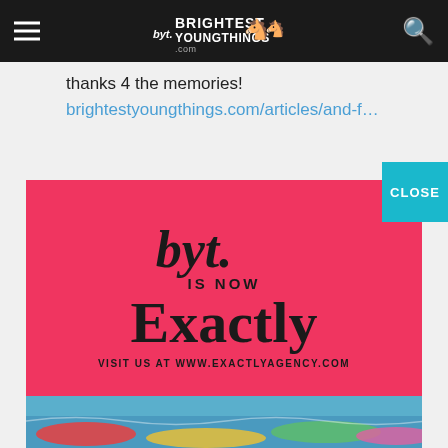Brightest Young Things - byt. navigation bar
thanks 4 the memories!
brightestyoungthings.com/articles/and-f…
[Figure (infographic): Red advertisement banner. BYT logo in cursive at top, text 'IS NOW', large serif 'Exactly', and 'VISIT US AT WWW.EXACTLYAGENCY.COM']
[Figure (photo): Partial photo of people in a pool with colorful floats at the bottom of the page]